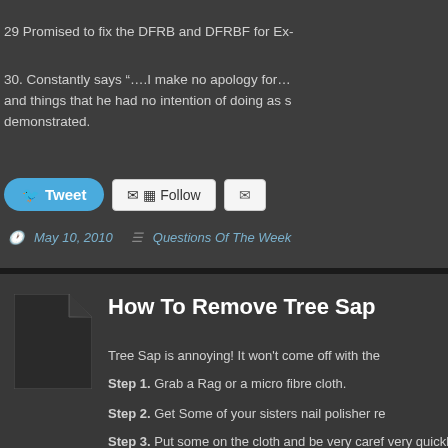29 Promised to fix the DFRB and DFRBF for Ex-
30. Constantly says “….I make no apology for…” and things that he had no intention of doing as s demonstrated.
[Figure (screenshot): Tweet button, Follow button, Email button]
May 10, 2010   Questions Of The Week
How To Remove Tree Sap
Tree Sap is annoying! It won't come off with the
Step 1. Grab a Rag or a micro fibre cloth.
Step 2. Get Some of your sisters nail polisher re
Step 3. Put some on the cloth and be very caref very quickly, don't use to much or you'll start to r